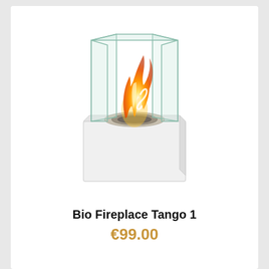[Figure (photo): A tabletop bio ethanol fireplace called Tango 1. It has a white cubic base with a circular stainless steel burner insert on top, surrounded by four transparent glass panels forming a box-like enclosure. Flames and fire are visible inside the glass enclosure.]
Bio Fireplace Tango 1
€99.00